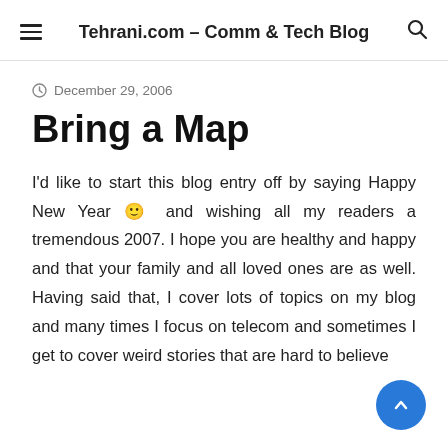Tehrani.com – Comm & Tech Blog
December 29, 2006
Bring a Map
I'd like to start this blog entry off by saying Happy New Year 🙂 and wishing all my readers a tremendous 2007. I hope you are healthy and happy and that your family and all loved ones are as well. Having said that, I cover lots of topics on my blog and many times I focus on telecom and sometimes I get to cover weird stories that are hard to believe